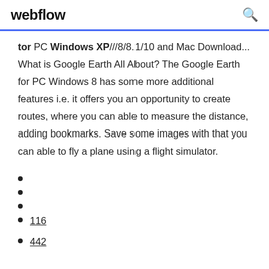webflow
for PC Windows XP///8/8.1/10 and Mac Download... What is Google Earth All About? The Google Earth for PC Windows 8 has some more additional features i.e. it offers you an opportunity to create routes, where you can able to measure the distance, adding bookmarks. Save some images with that you can able to fly a plane using a flight simulator.
116
442